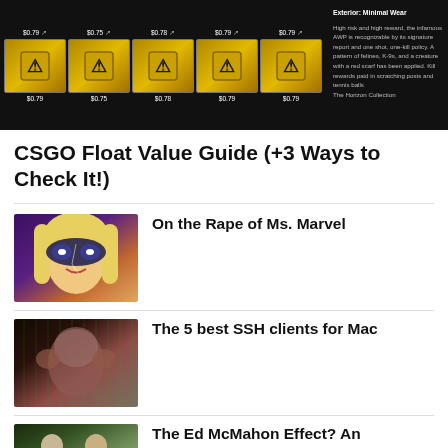[Figure (screenshot): Screenshot of a game marketplace showing golden crate/box items with prices ($0.79 each) and item description text on the right side about AWP Exterior Minimal Wear from The Horizon Collection]
CSGO Float Value Guide (+3 Ways to Check It!)
[Figure (illustration): Comic book style illustration of Ms. Marvel character with blonde hair and a black mask]
On the Rape of Ms. Marvel
[Figure (photo): Photo with digital matrix/code overlay effect showing a person's face]
The 5 best SSH clients for Mac
[Figure (photo): Photo of two people in suits, appears to be Ed McMahon related]
The Ed McMahon Effect? An Investigation Into the Most